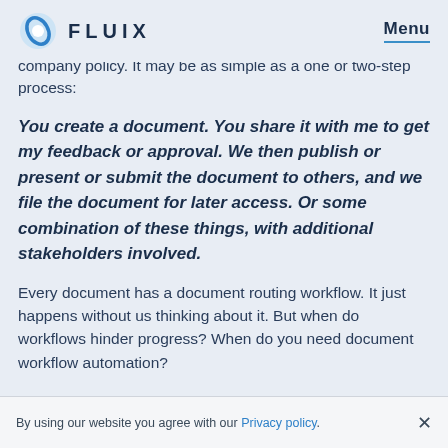FLUIX  Menu
company policy. It may be as simple as a one or two-step process:
You create a document. You share it with me to get my feedback or approval. We then publish or present or submit the document to others, and we file the document for later access. Or some combination of these things, with additional stakeholders involved.
Every document has a document routing workflow. It just happens without us thinking about it. But when do workflows hinder progress? When do you need document workflow automation?
By using our website you agree with our Privacy policy.